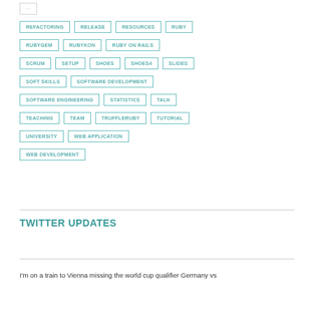REFACTORING
RELEASE
RESOURCES
RUBY
RUBYGEM
RUBYKON
RUBY ON RAILS
SCRUM
SETUP
SHOES
SHOES4
SLIDES
SOFT SKILLS
SOFTWARE DEVELOPMENT
SOFTWARE ENGINEERING
STATISTICS
TALK
TEACHING
TEAM
TRUFFLERUBY
TUTORIAL
UNIVERSITY
WEB APPLICATION
WEB DEVELOPMENT
TWITTER UPDATES
I'm on a train to Vienna missing the world cup qualifier Germany vs